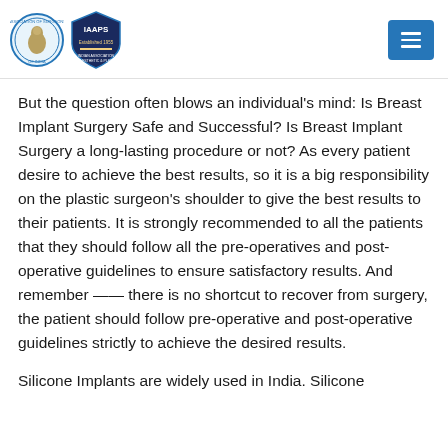IAAPS logo and navigation header
But the question often blows an individual's mind: Is Breast Implant Surgery Safe and Successful? Is Breast Implant Surgery a long-lasting procedure or not? As every patient desire to achieve the best results, so it is a big responsibility on the plastic surgeon's shoulder to give the best results to their patients. It is strongly recommended to all the patients that they should follow all the pre-operatives and post-operative guidelines to ensure satisfactory results. And remember —— there is no shortcut to recover from surgery, the patient should follow pre-operative and post-operative guidelines strictly to achieve the desired results.
Silicone Implants are widely used in India. Silicone Implants are made of special silicone that...